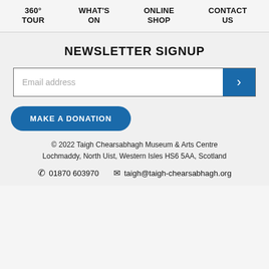360° TOUR | WHAT'S ON | ONLINE SHOP | CONTACT US
NEWSLETTER SIGNUP
Email address
MAKE A DONATION
© 2022 Taigh Chearsabhagh Museum & Arts Centre Lochmaddy, North Uist, Western Isles HS6 5AA, Scotland
01870 603970  taigh@taigh-chearsabhagh.org